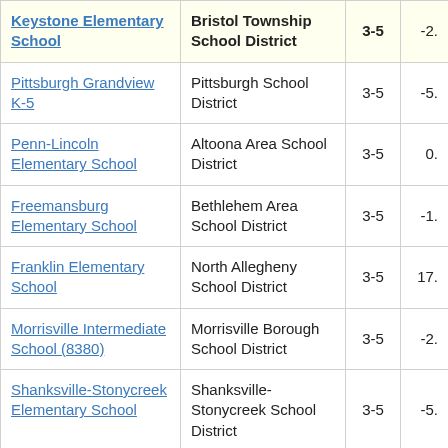| School | District | Grades | Value |
| --- | --- | --- | --- |
| Keystone Elementary School | Bristol Township School District | 3-5 | -2. |
| Pittsburgh Grandview K-5 | Pittsburgh School District | 3-5 | -5. |
| Penn-Lincoln Elementary School | Altoona Area School District | 3-5 | 0. |
| Freemansburg Elementary School | Bethlehem Area School District | 3-5 | -1. |
| Franklin Elementary School | North Allegheny School District | 3-5 | 17. |
| Morrisville Intermediate School (8380) | Morrisville Borough School District | 3-5 | -2. |
| Shanksville-Stonycreek Elementary School | Shanksville-Stonycreek School District | 3-5 | -5. |
| Paxtang Elementary | Central Dauphin | 3-5 | -3. |